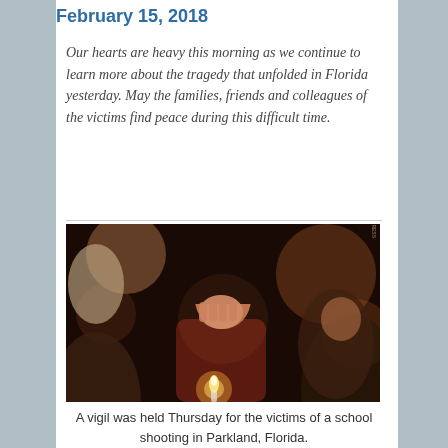February 15, 2018
Our hearts are heavy this morning as we continue to learn more about the tragedy that unfolded in Florida yesterday. May the families, friends and colleagues of the victims find peace during this difficult time.
[Figure (photo): A person at a candlelight vigil, covering their face with their hand in grief, surrounded by other people at night. Candles are visible in the scene.]
A vigil was held Thursday for the victims of a school shooting in Parkland, Florida.